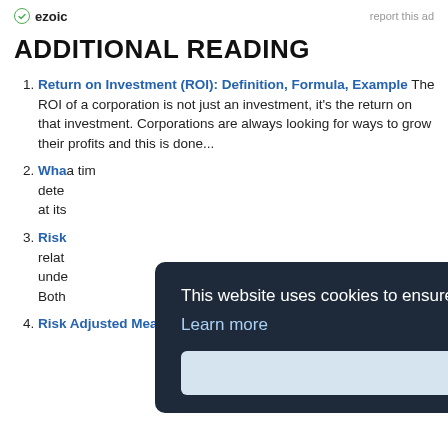ezoic   report this ad
ADDITIONAL READING
Return on Investment (ROI): Definition, Formula, Example The ROI of a corporation is not just an investment, it's the return on that investment. Corporations are always looking for ways to grow their profits and this is done...
Wha... a tim dete at its
Risk relat unde Both
Risk Adjusted Measures of Performance When
This website uses cookies to ensure you get the best experience on our website. Learn more
Got it!